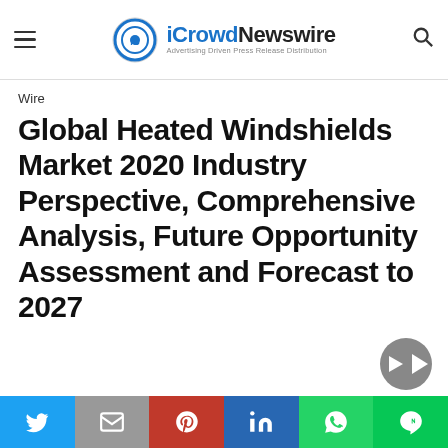iCrowdNewswire — Advertising Driven Press Release Distribution
Wire
Global Heated Windshields Market 2020 Industry Perspective, Comprehensive Analysis, Future Opportunity Assessment and Forecast to 2027